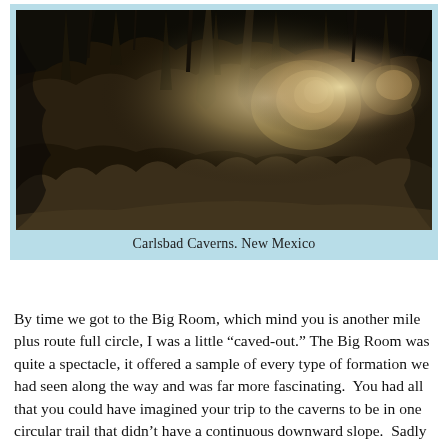[Figure (photo): Interior of Carlsbad Caverns showing stalactites and stalagmites with a dramatic cave passage lit from within, sepia/golden-brown tones]
Carlsbad Caverns. New Mexico
By time we got to the Big Room, which mind you is another mile plus route full circle, I was a little “caved-out.” The Big Room was quite a spectacle, it offered a sample of every type of formation we had seen along the way and was far more fascinating. You had all that you could have imagined your trip to the caverns to be in one circular trail that didn’t have a continuous downward slope. Sadly for us, after spending about 90 minutes just getting to the Big